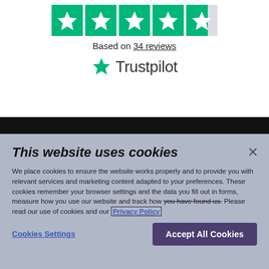[Figure (other): Trustpilot rating widget showing 4.5 stars out of 5, text 'Based on 34 reviews', and Trustpilot logo with green star]
This website uses cookies

We place cookies to ensure the website works properly and to provide you with relevant services and marketing content adapted to your preferences. These cookies remember your browser settings and the data you fill out in forms, measure how you use our website and track how you have found us. Please read our use of cookies and our Privacy Policy
Cookies Settings   Accept All Cookies